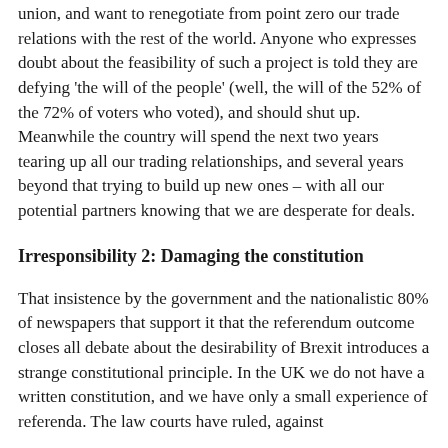union, and want to renegotiate from point zero our trade relations with the rest of the world. Anyone who expresses doubt about the feasibility of such a project is told they are defying 'the will of the people' (well, the will of the 52% of the 72% of voters who voted), and should shut up. Meanwhile the country will spend the next two years tearing up all our trading relationships, and several years beyond that trying to build up new ones – with all our potential partners knowing that we are desperate for deals.
Irresponsibility 2: Damaging the constitution
That insistence by the government and the nationalistic 80% of newspapers that support it that the referendum outcome closes all debate about the desirability of Brexit introduces a strange constitutional principle. In the UK we do not have a written constitution, and we have only a small experience of referenda. The law courts have ruled, against